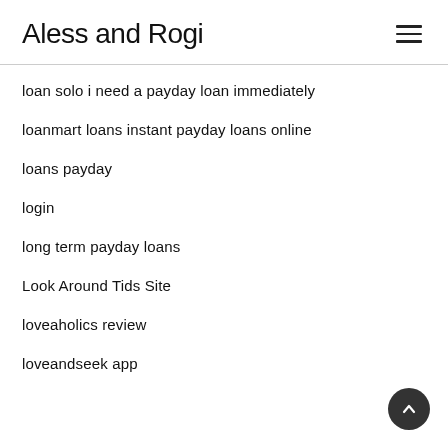Aless and Rogi
loan solo i need a payday loan immediately
loanmart loans instant payday loans online
loans payday
login
long term payday loans
Look Around Tids Site
loveaholics review
loveandseek app